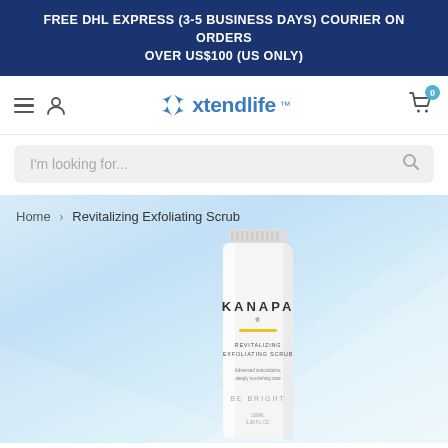FREE DHL EXPRESS (3-5 BUSINESS DAYS) COURIER ON ORDERS OVER US$100 (US ONLY)
[Figure (logo): Xtendlife logo with stylized X flower icon and text 'xtendlife' in blue]
I'm looking for...
Home › Revitalizing Exfoliating Scrub
[Figure (photo): KANAPA Revitalizing Exfoliating Scrub product tube (100ml / 3.38 FL OZ), white tube with yellow accent stripe, text reads: REVITALIZING EXFOLIATING SCRUB, Advanced antioxidants, deeply nourishing care, BE BRIGHT, displayed on a light blue gradient background]